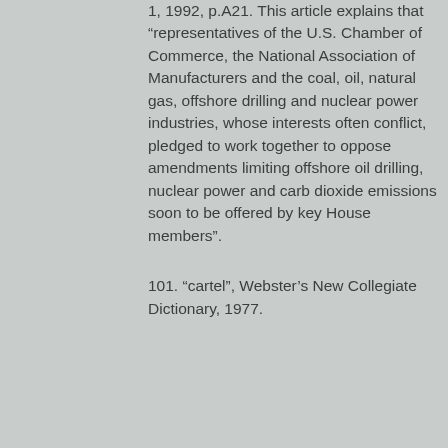1, 1992, p.A21. This article explains that “representatives of the U.S. Chamber of Commerce, the National Association of Manufacturers and the coal, oil, natural gas, offshore drilling and nuclear power industries, whose interests often conflict, pledged to work together to oppose amendments limiting offshore oil drilling, nuclear power and carb dioxide emissions soon to be offered by key House members”.
101. “cartel”, Webster’s New Collegiate Dictionary, 1977.